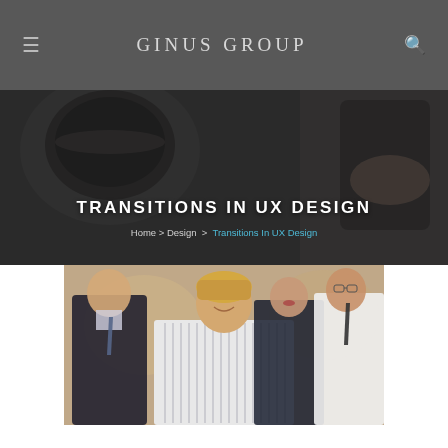≡  GINUS GROUP  🔍
TRANSITIONS IN UX DESIGN
Home > Design > Transitions In UX Design
[Figure (photo): Group of four business professionals: a smiling blonde woman in a striped shirt in the foreground, with three colleagues (two men and a woman) standing behind her in a professional setting.]